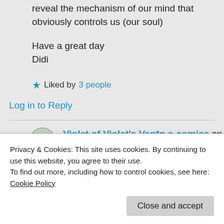reveal the mechanism of our mind that obviously controls us (our soul)
Have a great day
Didi
★ Liked by 3 people
Log in to Reply
Violet of Violet's Veg*n e-comics on 06/06/2017 at 07:10
Privacy & Cookies: This site uses cookies. By continuing to use this website, you agree to their use.
To find out more, including how to control cookies, see here: Cookie Policy
Close and accept
★ Liked by 2 people